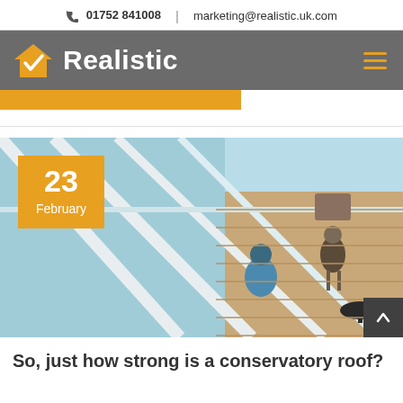📞 01752 841008  |  marketing@realistic.uk.com
[Figure (logo): Realistic home improvement company logo with orange house/checkmark icon and white bold text 'Realistic' on grey background]
[Figure (photo): Overhead view of a glass conservatory roof with a woman sitting inside and a man with a dog standing on a wooden deck outside. Date badge shows '23 February' in orange.]
So, just how strong is a conservatory roof?